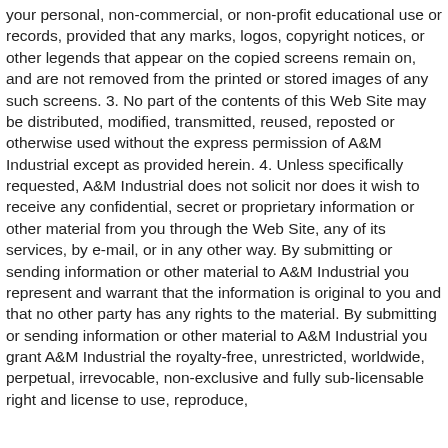your personal, non-commercial, or non-profit educational use or records, provided that any marks, logos, copyright notices, or other legends that appear on the copied screens remain on, and are not removed from the printed or stored images of any such screens. 3. No part of the contents of this Web Site may be distributed, modified, transmitted, reused, reposted or otherwise used without the express permission of A&M Industrial except as provided herein. 4. Unless specifically requested, A&M Industrial does not solicit nor does it wish to receive any confidential, secret or proprietary information or other material from you through the Web Site, any of its services, by e-mail, or in any other way. By submitting or sending information or other material to A&M Industrial you represent and warrant that the information is original to you and that no other party has any rights to the material. By submitting or sending information or other material to A&M Industrial you grant A&M Industrial the royalty-free, unrestricted, worldwide, perpetual, irrevocable, non-exclusive and fully sub-licensable right and license to use, reproduce,